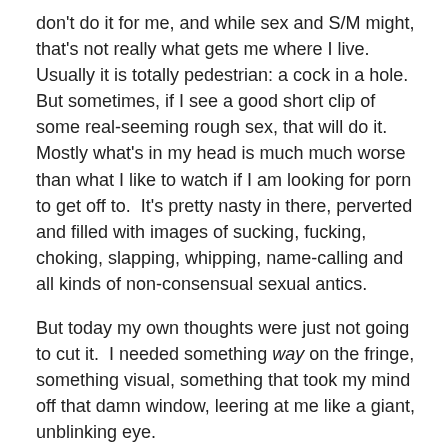don't do it for me, and while sex and S/M might, that's not really what gets me where I live. Usually it is totally pedestrian: a cock in a hole. But sometimes, if I see a good short clip of some real-seeming rough sex, that will do it. Mostly what's in my head is much much worse than what I like to watch if I am looking for porn to get off to.  It's pretty nasty in there, perverted and filled with images of sucking, fucking, choking, slapping, whipping, name-calling and all kinds of non-consensual sexual antics.
But today my own thoughts were just not going to cut it.  I needed something way on the fringe, something visual, something that took my mind off that damn window, leering at me like a giant, unblinking eye.
And in fact, what I did watch was so nasty that I am not even going to confess to it here. So there.